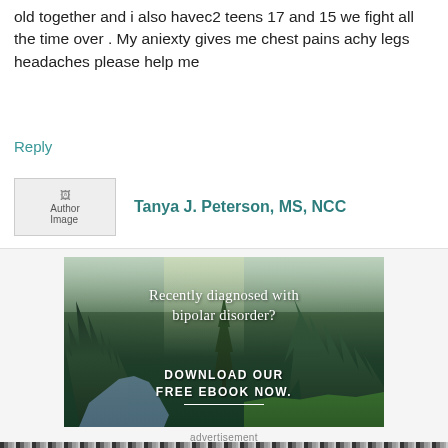old together and i also havec2 teens 17 and 15 we fight all the time over . My aniexty gives me chest pains achy legs headaches please help me
Reply
[Figure (photo): Author image placeholder]
Tanya J. Peterson, MS, NCC
[Figure (photo): Forest scene with river, trees, and text overlay: 'Recently diagnosed with bipolar disorder? DOWNLOAD OUR FREE EBOOK NOW.']
advertisement